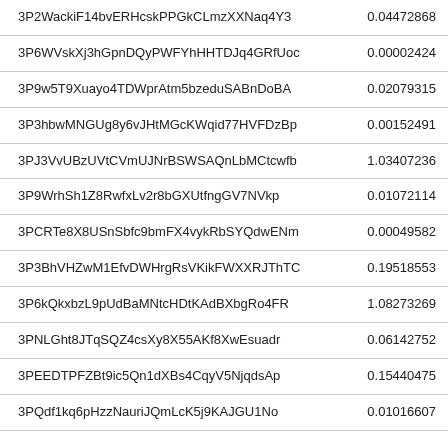| 3P2WackiF14bvERHcskPPGkCLmzXXNaq4Y3 | 0.04472868 |
| 3P6WVskXj3hGpnDQyPWFYhHHTDJq4GRfUoc | 0.00002424 |
| 3P9w5T9Xuayo4TDWprAtm5bzeduSABnDoBA | 0.02079315 |
| 3P3hbwMNGUg8y6vJHtMGcKWqid77HVFDzBp | 0.00152491 |
| 3PJ3VvUBzUVtCVmUJNrBSWSAQnLbMCtcwfb | 1.03407236 |
| 3P9WrhSh1Z8RwfxLv2r8bGXUtfngGV7NVkp | 0.01072114 |
| 3PCRTe8X8USnSbfc9bmFX4vykRbSYQdwENm | 0.00049582 |
| 3P3BhVHZwM1EfvDWHrgRsVKikFWXXRJThTC | 0.19518553 |
| 3P6kQkxbzL9pUdBaMNtcHDtKAdBXbgRo4FR | 1.08273269 |
| 3PNLGht8JTqSQZ4csXy8X55AKf8XwEsuadr | 0.06142752 |
| 3PEEDTPFZBt9ic5Qn1dXBs4CqyV5NjqdsAp | 0.15440475 |
| 3PQdf1kq6pHzzNauriJQmLcK5j9KAJGU1No | 0.01016607 |